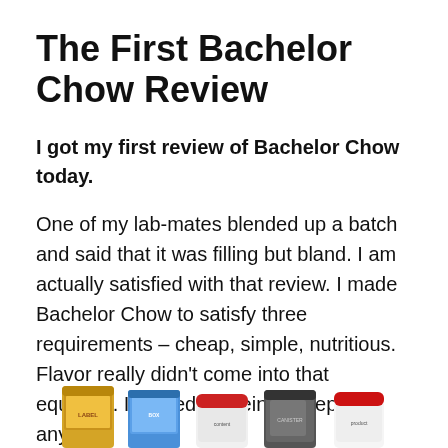The First Bachelor Chow Review
I got my first review of Bachelor Chow today.
One of my lab-mates blended up a batch and said that it was filling but bland. I am actually satisfied with that review. I made Bachelor Chow to satisfy three requirements – cheap, simple, nutritious. Flavor really didn't come into that equation. It ended up being acceptable anyway.
[Figure (photo): Row of five food product containers/jars partially visible at the bottom of the page.]